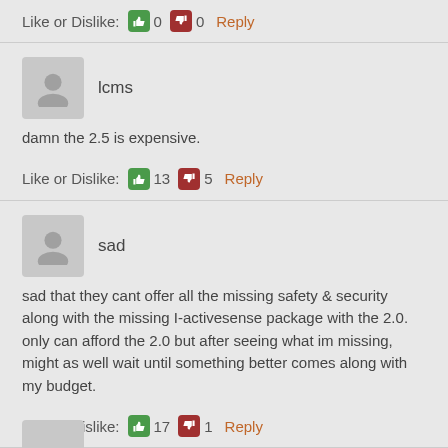Like or Dislike: 👍 0 👎 0 Reply
lcms
damn the 2.5 is expensive.
Like or Dislike: 👍 13 👎 5 Reply
sad
sad that they cant offer all the missing safety & security along with the missing I-activesense package with the 2.0. only can afford the 2.0 but after seeing what im missing, might as well wait until something better comes along with my budget.
Like or Dislike: 👍 17 👎 1 Reply